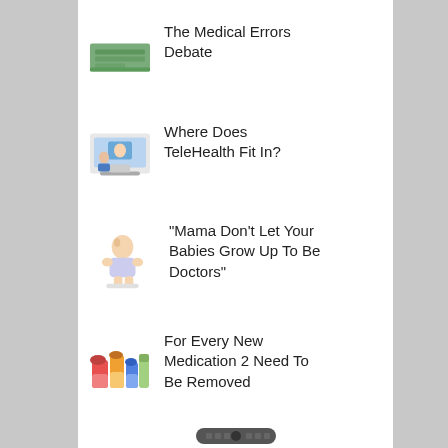The Medical Errors Debate
Where Does TeleHealth Fit In?
“Mama Don’t Let Your Babies Grow Up To Be Doctors”
For Every New Medication 2 Need To Be Removed